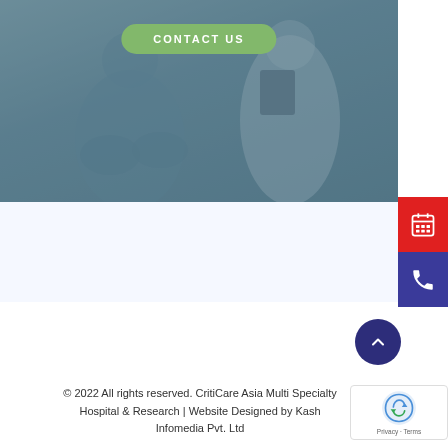[Figure (photo): Background photo of a patient and doctor consultation, overlaid with a dark teal/blue tint. Contains a green 'CONTACT US' button in the upper portion.]
[Figure (infographic): Red sidebar button with calendar/grid icon]
[Figure (infographic): Dark blue/indigo sidebar button with phone icon]
[Figure (infographic): Dark navy circular scroll-to-top button with upward chevron]
[Figure (infographic): reCAPTCHA badge with Privacy and Terms text]
© 2022 All rights reserved. CritiCare Asia Multi Specialty Hospital & Research | Website Designed by Kash Infomedia Pvt. Ltd